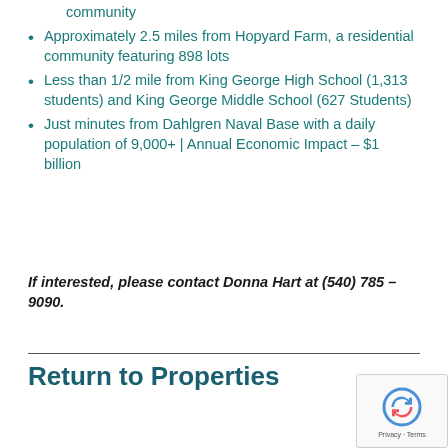community
Approximately 2.5 miles from Hopyard Farm, a residential community featuring 898 lots
Less than 1/2 mile from King George High School (1,313 students) and King George Middle School (627 Students)
Just minutes from Dahlgren Naval Base with a daily population of 9,000+ | Annual Economic Impact – $1 billion
If interested, please contact Donna Hart at (540) 785 – 9090.
Return to Properties